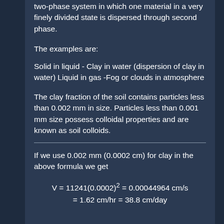two-phase system in which one material in a very finely divided state is dispersed through second phase.
The examples are:
Solid in liquid - Clay in water (dispersion of clay in water) Liquid in gas -Fog or clouds in atmosphere
The clay fraction of the soil contains particles less than 0.002 mm in size. Particles less than 0.001 mm size possess colloidal properties and are known as soil colloids.
If we use 0.002 mm (0.0002 cm) for clay in the above formula we get